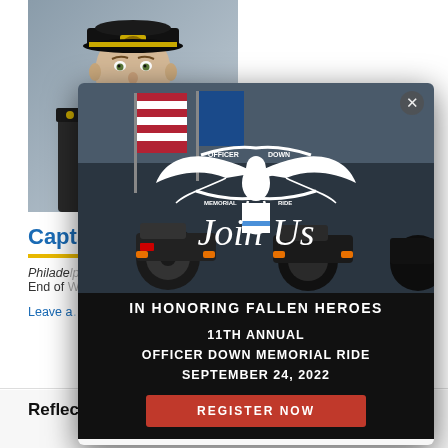[Figure (photo): Police officer in uniform with cap, official portrait photo, gray background]
Capt…
Philadelphia…
End of W…
Leave a…
[Figure (infographic): Modal popup advertisement for the 11th Annual Officer Down Memorial Ride on September 24, 2022. Features eagle logo with banner reading OFFICER DOWN MEMORIAL RIDE, background photo of motorcycles with American flag, text: Join Us IN HONORING FALLEN HEROES, 11TH ANNUAL OFFICER DOWN MEMORIAL RIDE SEPTEMBER 24, 2022, and a REGISTER NOW red button. X close button in top right.]
Reflections for Captain Frank Rocco Milillo, Sr.